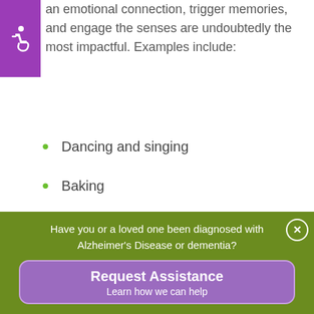an emotional connection, trigger memories, and engage the senses are undoubtedly the most impactful. Examples include:
[Figure (illustration): Purple square with white wheelchair accessibility icon]
Dancing and singing
Baking
Arranging flowers and
Have you or a loved one been diagnosed with Alzheimer's Disease or dementia?
Request Assistance
Learn how we can help